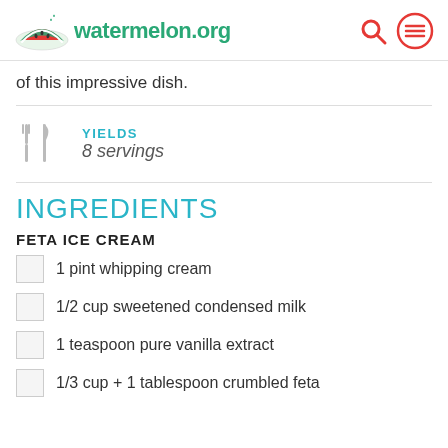watermelon.org
of this impressive dish.
YIELDS
8 servings
INGREDIENTS
FETA ICE CREAM
1 pint whipping cream
1/2 cup sweetened condensed milk
1 teaspoon pure vanilla extract
1/3 cup + 1 tablespoon crumbled feta